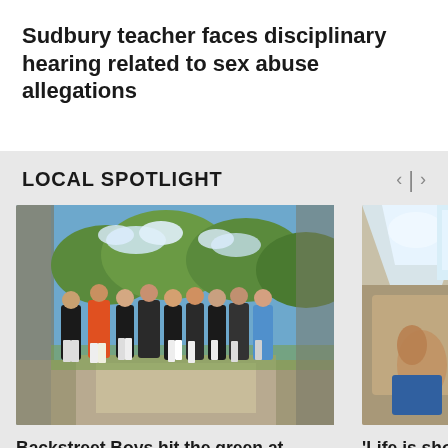Sudbury teacher faces disciplinary hearing related to sex abuse allegations
LOCAL SPOTLIGHT
[Figure (photo): Group of people posing together on a golf course path with trees in the background, outdoors on a sunny day.]
[Figure (photo): Partial image of a person, likely inside a vehicle or small space, looking up toward a light source.]
Backstreet Boys hit the green at Winnipeg golf course
'Life is sho year-old sk non-profit